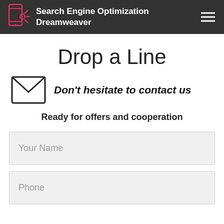Search Engine Optimization Dreamweaver
Drop a Line
Don't hesitate to contact us
Ready for offers and cooperation
Your Name
Phone